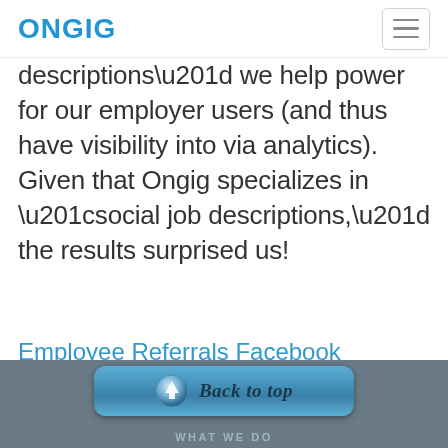ONGIG
descriptions” we help power for our employer users (and thus have visibility into via analytics). Given that Ongig specializes in “social job descriptions,” the results surprised us!
Employee Referrals Facebook Recruiting Google Groupon HireVue Job Ads Klout Linkedin Salesforce.com SEO Social Job Descriptions Twitter Recruiting
Back to top | WHAT WE DO